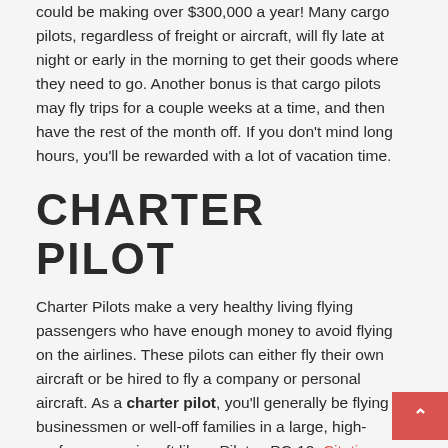could be making over $300,000 a year! Many cargo pilots, regardless of freight or aircraft, will fly late at night or early in the morning to get their goods where they need to go. Another bonus is that cargo pilots may fly trips for a couple weeks at a time, and then have the rest of the month off. If you don't mind long hours, you'll be rewarded with a lot of vacation time.
CHARTER PILOT
Charter Pilots make a very healthy living flying passengers who have enough money to avoid flying on the airlines. These pilots can either fly their own aircraft or be hired to fly a company or personal aircraft. As a charter pilot, you'll generally be flying businessmen or well-off families in a large, high-performance aircraft like a Pilatus PC-12, Citation, or Gulfstream from place to place. However, there are some unique situations in which smaller planes are used, such as chartering tourists